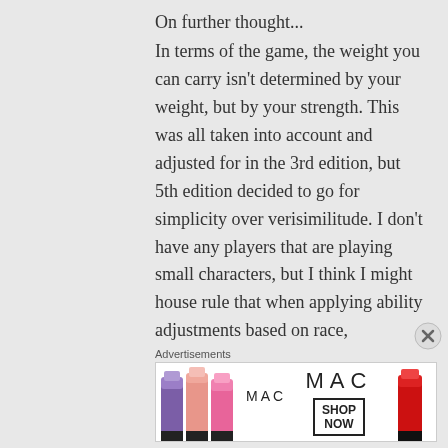On further thought...
In terms of the game, the weight you can carry isn't determined by your weight, but by your strength. This was all taken into account and adjusted for in the 3rd edition, but 5th edition decided to go for simplicity over verisimilitude. I don't have any players that are playing small characters, but I think I might house rule that when applying ability adjustments based on race,
Advertisements
[Figure (photo): MAC cosmetics advertisement banner showing colorful lipsticks on the left, MAC logo in the center, and a SHOP NOW box on the right, with a red lipstick on the far right.]